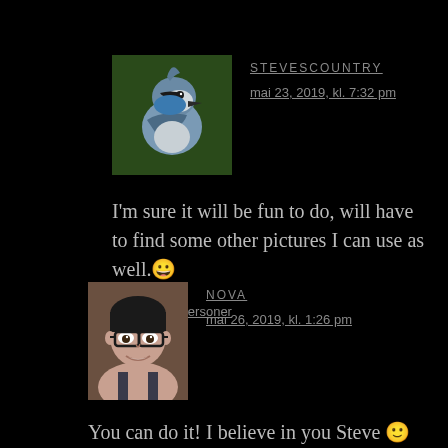[Figure (photo): Profile photo of a blue jay bird close-up]
STEVESCOUNTRY
mai 23, 2019, kl. 7:32 pm
I'm sure it will be fun to do, will have to find some other pictures I can use as well. 😀
★ Likt av 3 personer
[Figure (photo): Profile photo of a woman with glasses smiling]
NOVA
mai 26, 2019, kl. 1:26 pm
You can do it! I believe in you Steve 🙂